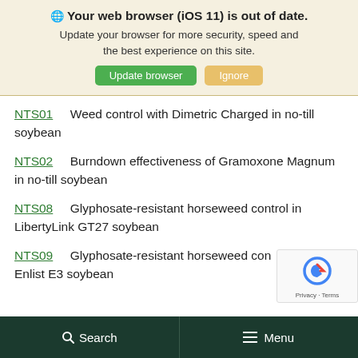Your web browser (iOS 11) is out of date. Update your browser for more security, speed and the best experience on this site. [Update browser] [Ignore]
NTS01    Weed control with Dimetric Charged in no-till soybean
NTS02    Burndown effectiveness of Gramoxone Magnum in no-till soybean
NTS08    Glyphosate-resistant horseweed control in LibertyLink GT27 soybean
NTS09    Glyphosate-resistant horseweed control in Enlist E3 soybean
Search   Menu